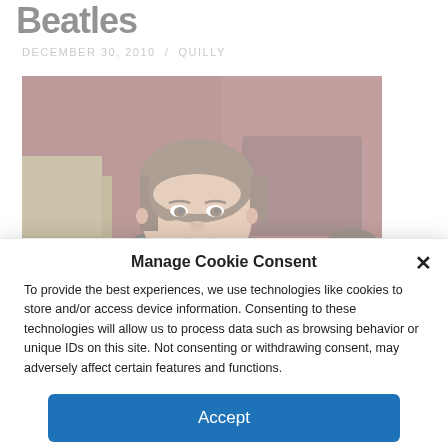Beatles
DECEMBER 30, 2010 / QUILLY
[Figure (photo): Color photograph of a young John Lennon with brown hair, wearing a dark suit, looking toward the camera, with a dark reddish-brown background.]
Manage Cookie Consent
To provide the best experiences, we use technologies like cookies to store and/or access device information. Consenting to these technologies will allow us to process data such as browsing behavior or unique IDs on this site. Not consenting or withdrawing consent, may adversely affect certain features and functions.
Accept
Cookie Policy  Disclosure Policy